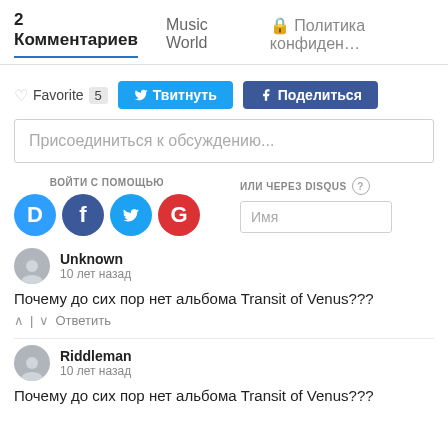2 Комментариев   Music World   🔒 Политика конфиден…
♡ Favorite 5   Твитнуть   f Поделиться
Присоединиться к обсуждению...
ВОЙТИ С ПОМОЩЬЮ   ИЛИ ЧЕРЕЗ DISQUS ?   Имя
Unknown
10 лет назад
Почему до сих пор нет альбома Transit of Venus???
^ | v   Ответить
Riddleman
10 лет назад
Почему до сих пор нет альбома Transit of Venus???